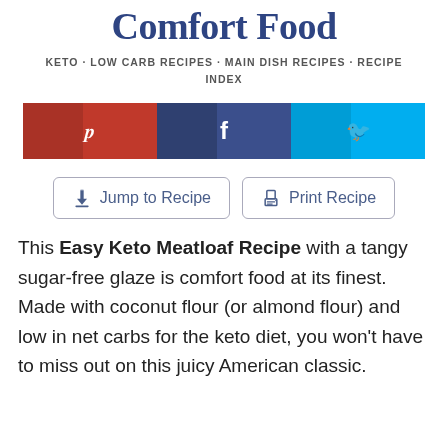Comfort Food
KETO · LOW CARB RECIPES · MAIN DISH RECIPES · RECIPE INDEX
[Figure (infographic): Three social sharing buttons: Pinterest (red), Facebook (dark blue), Twitter (light blue), each with respective icons]
[Figure (infographic): Two action buttons: 'Jump to Recipe' with down-arrow icon and 'Print Recipe' with printer icon, both outlined in gray]
This Easy Keto Meatloaf Recipe with a tangy sugar-free glaze is comfort food at its finest. Made with coconut flour (or almond flour) and low in net carbs for the keto diet, you won't have to miss out on this juicy American classic.